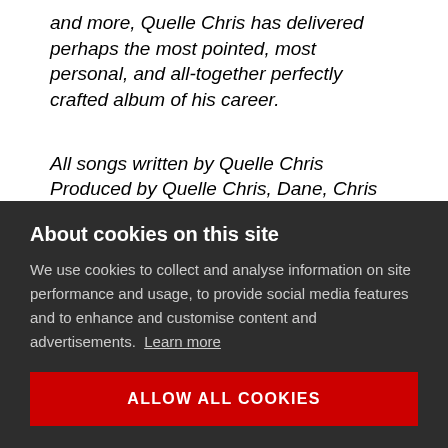and more, Quelle Chris has delivered perhaps the most pointed, most personal, and all-together perfectly crafted album of his career.
All songs written by Quelle Chris
Produced by Quelle Chris, Dane, Chris Keys
Additional Vocals by Bilal Salaam, Shaka King, & James Acaster
Additional Instrumentation by Dane, Chris
About cookies on this site
We use cookies to collect and analyse information on site performance and usage, to provide social media features and to enhance and customise content and advertisements. Learn more
ALLOW ALL COOKIES